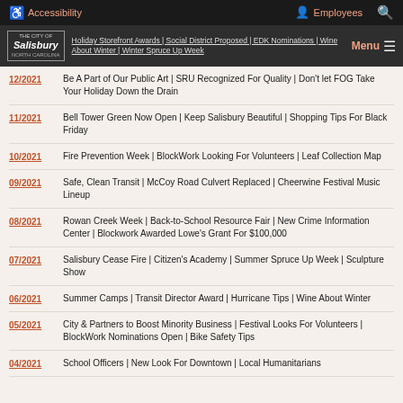Accessibility | Employees | Search
The City of Salisbury — Holiday Storefront Awards | Social District Proposed | EDK Nominations | Wine About Winter | Winter Spruce Up Week — Menu
12/2021 — Be A Part of Our Public Art | SRU Recognized For Quality | Don't let FOG Take Your Holiday Down the Drain
11/2021 — Bell Tower Green Now Open | Keep Salisbury Beautiful | Shopping Tips For Black Friday
10/2021 — Fire Prevention Week | BlockWork Looking For Volunteers | Leaf Collection Map
09/2021 — Safe, Clean Transit | McCoy Road Culvert Replaced | Cheerwine Festival Music Lineup
08/2021 — Rowan Creek Week | Back-to-School Resource Fair | New Crime Information Center | Blockwork Awarded Lowe's Grant For $100,000
07/2021 — Salisbury Cease Fire | Citizen's Academy | Summer Spruce Up Week | Sculpture Show
06/2021 — Summer Camps | Transit Director Award | Hurricane Tips | Wine About Winter
05/2021 — City & Partners to Boost Minority Business | Festival Looks For Volunteers | BlockWork Nominations Open | Bike Safety Tips
04/2021 — School Officers | New Look For Downtown | Local Humanitarians